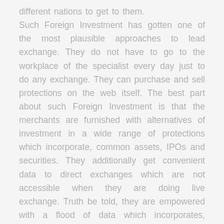different nations to get to them. Such Foreign Investment has gotten one of the most plausible approaches to lead exchange. They do not have to go to the workplace of the specialist every day just to do any exchange. They can purchase and sell protections on the web itself. The best part about such Foreign Investment is that the merchants are furnished with alternatives of investment in a wide range of protections which incorporate, common assets, IPOs and securities. They additionally get convenient data to direct exchanges which are not accessible when they are doing live exchange. Truth be told, they are empowered with a flood of data which incorporates, diagrams and market watch on loads quite compelling. Another bit of leeway is that requests can be set through telephones in any event when you are not online. The dealers can take